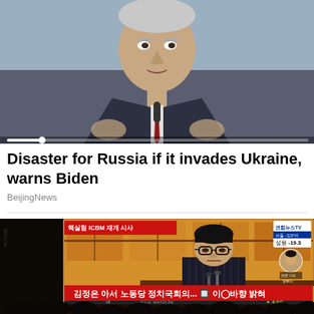[Figure (photo): Video thumbnail or screenshot of a man in a dark suit and tie speaking at a podium or press conference, with a progress/seek bar visible at the bottom suggesting this is a video player interface.]
Disaster for Russia if it invades Ukraine, warns Biden
BeijingNews
[Figure (photo): Korean news broadcast showing Kim Jong-un seated at a desk in a striped suit. The TV screen displays Korean text: 김정은 아서 노동당 정치국회의... 방향 밝혀. A red banner at the top reads 핵실험 ICBM 재개 시사. Upper right corner shows 연합뉴스TV logo and temperature -19.3. Bottom of screen shows temperature -9.3°C with date/forecast text. Silhouettes of audience members visible in foreground.]